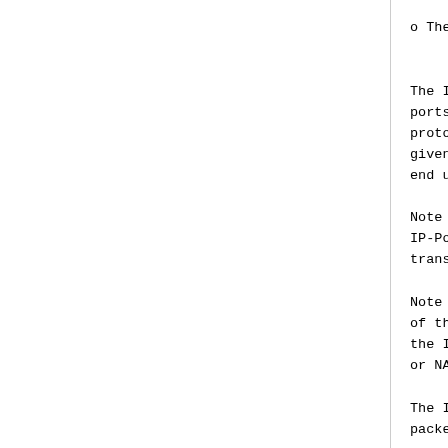o  The IP-Port-Limit-Info
     IP-Port-Ext-IPv4-Addr T
The IP-Port-Limit-Info Att
ports, as indicated in IP-
protocol, as indicated in
given IPv4 address, as inc
end user.
Note that when IP-Port-Typ
IP-Port-Limit-Info Attribu
transport protocols.
Note also that when IP-Por
of the IP-Port-Limit-Info
the IPv4 addresses managed
or NAT64 device.
The IP-Port-Limit-Info Att
packet.  It MAY also appea